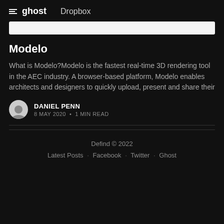≡ ghost   Dropbox
[Figure (other): White search bar input field]
Modelo
What is Modelo?Modelo is the fastest real-time 3D rendering tool in the AEC industry. A browser-based platform, Modelo enables architects and designers to quickly upload, present and share their
DANIEL PENN
8 MAY 2020 • 1 MIN READ
Defind © 2022
Latest Posts · Facebook · Twitter · Ghost